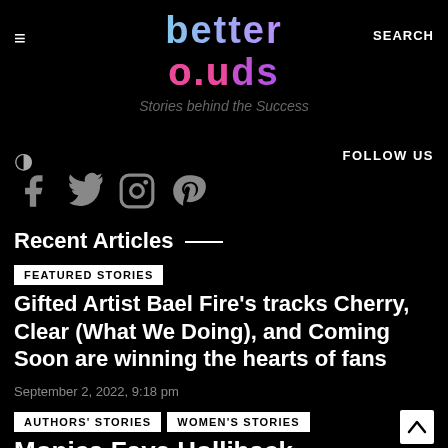better auds — Stories behind the Success
FOLLOW US
[Figure (other): Social media icons: Facebook, Twitter, Instagram, Pinterest in dark grey]
Recent Articles —
FEATURED STORIES
Gifted Artist Bael Fire's tracks Cherry, Clear (What We Doing), and Coming Soon are winning the hearts of fans
September 2, 2022, 9:18 pm
AUTHORS' STORIES   WOMEN'S STORIES
Monica Faye Holliback Commerce...